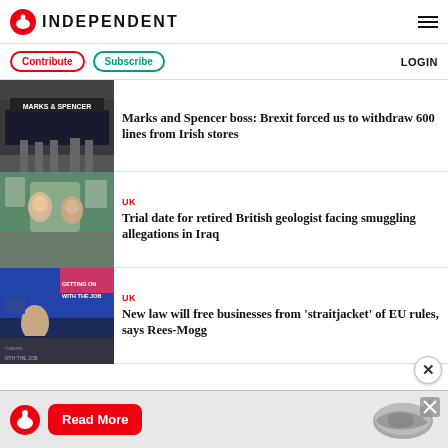INDEPENDENT
Contribute | Subscribe | LOGIN
[Figure (photo): Marks and Spencer store front exterior with people walking by]
Marks and Spencer boss: Brexit forced us to withdraw 600 lines from Irish stores
[Figure (photo): Two people smiling in front of a building with arched architecture]
UK
Trial date for retired British geologist facing smuggling allegations in Iraq
[Figure (photo): Man speaking at a Conservative party event with 'GETTING ON WITH THE JOB' sign]
UK
New law will free businesses from 'straitjacket' of EU rules, says Rees-Mogg
[Figure (advertisement): Independent Read More advertisement banner with eagle logo and world map]